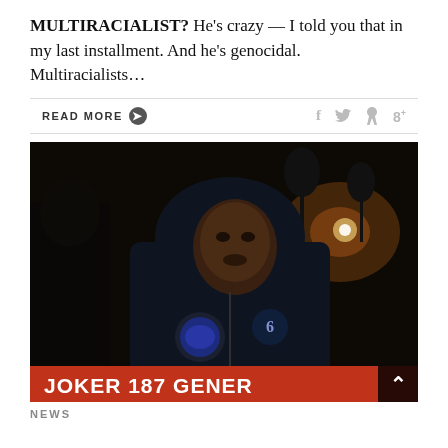MULTIRACIALIST? He's crazy — I told you that in my last installment. And he's genocidal. Multiracialists…
READ MORE ➔  f  𝕡  8+
[Figure (photo): Person wearing a dark hoodie standing outdoors at night, with a red chyron at the bottom reading 'JOKER 187 GENERAL']
NEWS